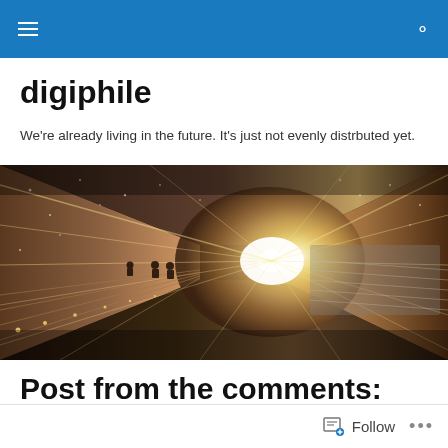digiphile navigation header
digiphile
We're already living in the future. It's just not evenly distrbuted yet.
[Figure (photo): Wide-angle view of a tunnel or underground station with people on escalators and dramatic light converging at a vanishing point in the distance]
Post from the comments: “Let’s go give away some oranges”
Follow ...